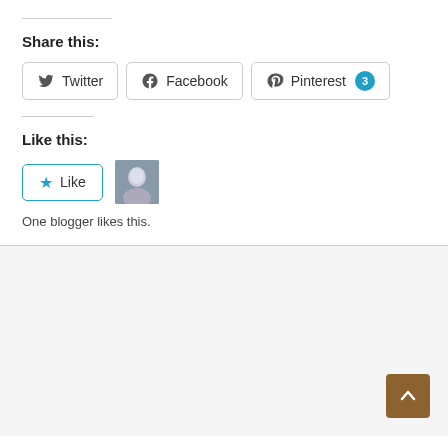Share this:
[Figure (infographic): Social share buttons: Twitter, Facebook, Pinterest (with badge showing 3)]
Like this:
[Figure (infographic): Like button with star icon, and a blogger avatar thumbnail. Text: One blogger likes this.]
One blogger likes this.